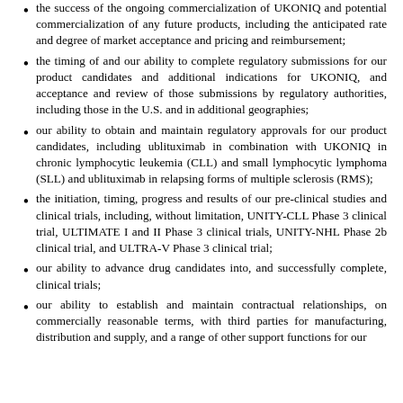the success of the ongoing commercialization of UKONIQ and potential commercialization of any future products, including the anticipated rate and degree of market acceptance and pricing and reimbursement;
the timing of and our ability to complete regulatory submissions for our product candidates and additional indications for UKONIQ, and acceptance and review of those submissions by regulatory authorities, including those in the U.S. and in additional geographies;
our ability to obtain and maintain regulatory approvals for our product candidates, including ublituximab in combination with UKONIQ in chronic lymphocytic leukemia (CLL) and small lymphocytic lymphoma (SLL) and ublituximab in relapsing forms of multiple sclerosis (RMS);
the initiation, timing, progress and results of our pre-clinical studies and clinical trials, including, without limitation, UNITY-CLL Phase 3 clinical trial, ULTIMATE I and II Phase 3 clinical trials, UNITY-NHL Phase 2b clinical trial, and ULTRA-V Phase 3 clinical trial;
our ability to advance drug candidates into, and successfully complete, clinical trials;
our ability to establish and maintain contractual relationships, on commercially reasonable terms, with third parties for manufacturing, distribution and supply, and a range of other support functions for our